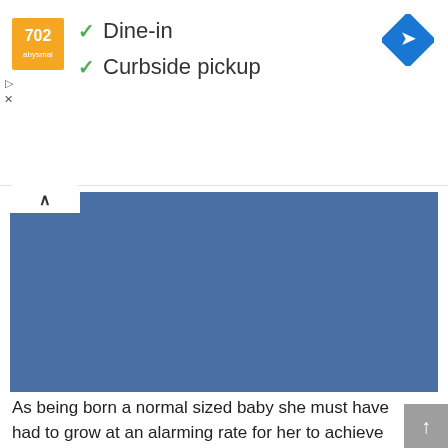[Figure (logo): Orange square restaurant logo with white text/graphic]
✓ Dine-in
✓ Curbside pickup
[Figure (other): Blue rectangle placeholder image block]
As being born a normal sized baby she must have had to grow at an alarming rate for her to achieve giantism hence the need for large amounts of food. For her to grow into a giant she would need a